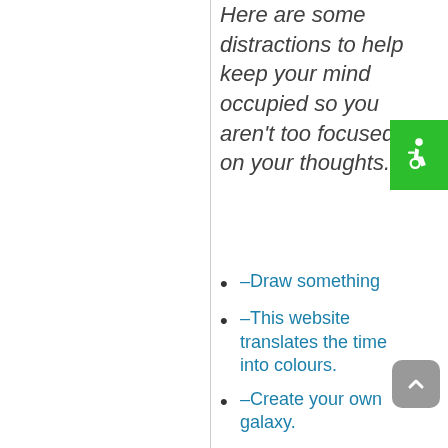Here are some distractions to help keep your mind occupied so you aren't too focused on your thoughts.
–Draw something
–This website translates the time into colours.
–Create your own galaxy.
[Figure (other): Green accessibility icon button (wheelchair symbol) in top right corner]
[Figure (other): Gray scroll-to-top button with upward chevron arrow in bottom right corner]